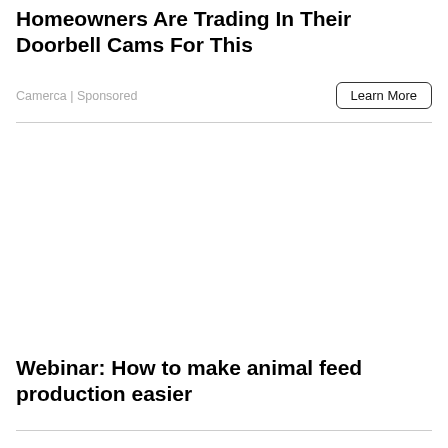Homeowners Are Trading In Their Doorbell Cams For This
Camerca | Sponsored
[Figure (other): Advertisement image area (blank/white)]
Webinar: How to make animal feed production easier